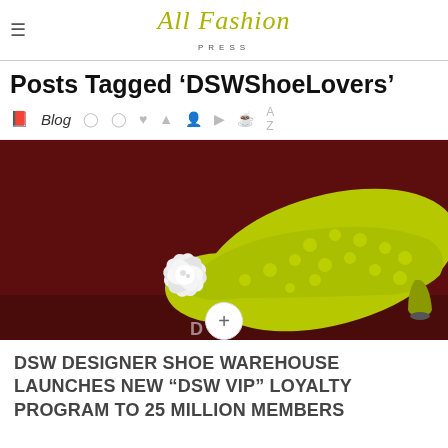All Fashion Press
Posts Tagged ‘DSWShoeLovers’
Blog
[Figure (photo): A lime green polka-dot high heel shoe with a large white flower embellishment, photographed on a dark red/brown background. DSW logo partially visible at bottom.]
DSW DESIGNER SHOE WAREHOUSE LAUNCHES NEW “DSW VIP” LOYALTY PROGRAM TO 25 MILLION MEMBERS